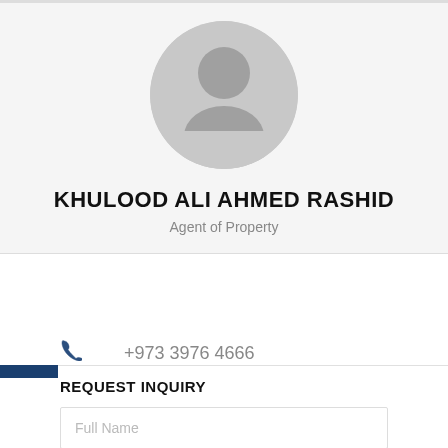[Figure (photo): Default avatar placeholder image — circular gray silhouette of a person on light gray background]
KHULOOD ALI AHMED RASHID
Agent of Property
+973 3976 4666
REQUEST INQUIRY
Full Name
Phone Number